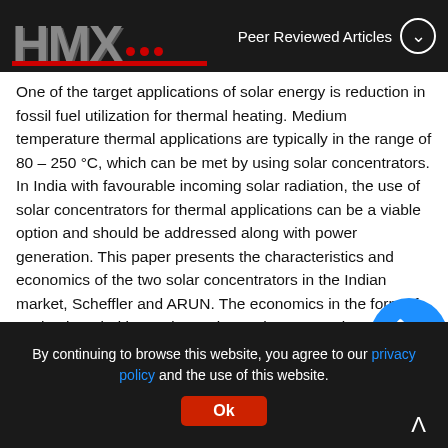HMX ... | Peer Reviewed Articles
One of the target applications of solar energy is reduction in fossil fuel utilization for thermal heating. Medium temperature thermal applications are typically in the range of 80 – 250 °C, which can be met by using solar concentrators. In India with favourable incoming solar radiation, the use of solar concentrators for thermal applications can be a viable option and should be addressed along with power generation. This paper presents the characteristics and economics of the two solar concentrators in the Indian market, Scheffler and ARUN. The economics in the form of payback period is used to estimate the penetration potential of the two concentrators in the medium temperature industrial market. The factors considered for the economic evaluation are the solar system characteristics, sunshine hours, and conventional fue replaced. The fraction of potential users for the target tempe
By continuing to browse this website, you agree to our privacy policy and the use of this website.